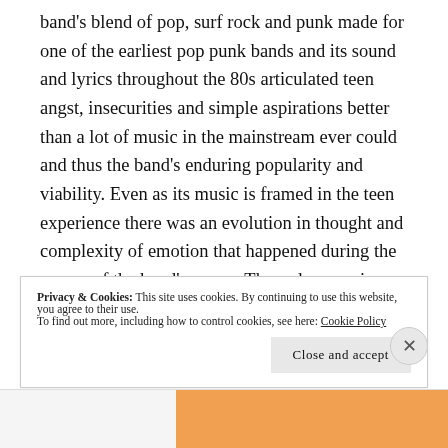band's blend of pop, surf rock and punk made for one of the earliest pop punk bands and its sound and lyrics throughout the 80s articulated teen angst, insecurities and simple aspirations better than a lot of music in the mainstream ever could and thus the band's enduring popularity and viability. Even as its music is framed in the teen experience there was an evolution in thought and complexity of emotion that happened during the course of the band's career. These days, seeing The Descendents is a great reminder that punk, even pop punk, can be silly, kinda dumb, but also thoughtful and
Privacy & Cookies: This site uses cookies. By continuing to use this website, you agree to their use.
To find out more, including how to control cookies, see here: Cookie Policy